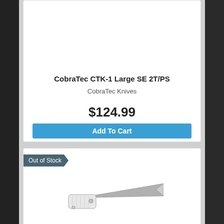CobraTec CTK-1 Large SE 2T/PS
CobraTec Knives
$124.99
Add To Cart
Out of Stock
[Figure (photo): Partial view of a folding knife with silver/white handle and blade pointing upper left, on white background]